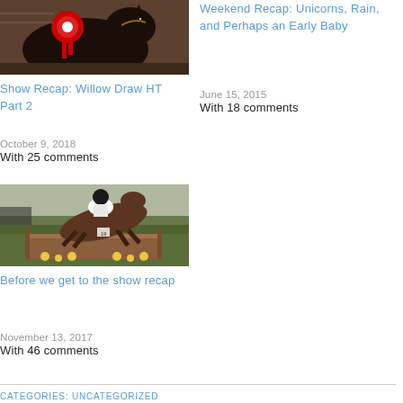[Figure (photo): Dark horse with red ribbon/rosette at a horse show]
Show Recap: Willow Draw HT Part 2
October 9, 2018
With 25 comments
Weekend Recap: Unicorns, Rain, and Perhaps an Early Baby
June 15, 2015
With 18 comments
[Figure (photo): Horse and rider jumping over a fence in an eventing cross-country course]
Before we get to the show recap
November 13, 2017
With 46 comments
CATEGORIES: UNCATEGORIZED